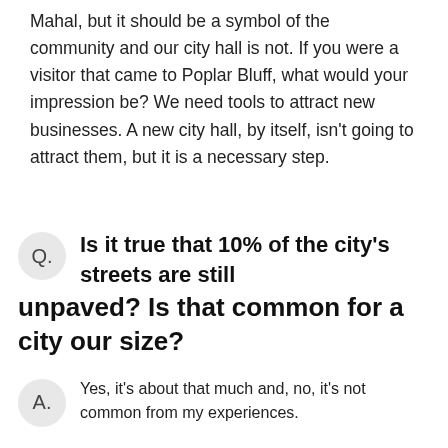Mahal, but it should be a symbol of the community and our city hall is not. If you were a visitor that came to Poplar Bluff, what would your impression be? We need tools to attract new businesses. A new city hall, by itself, isn't going to attract them, but it is a necessary step.
Q. Is it true that 10% of the city's streets are still unpaved? Is that common for a city our size?
A. Yes, it's about that much and, no, it's not common from my experiences.